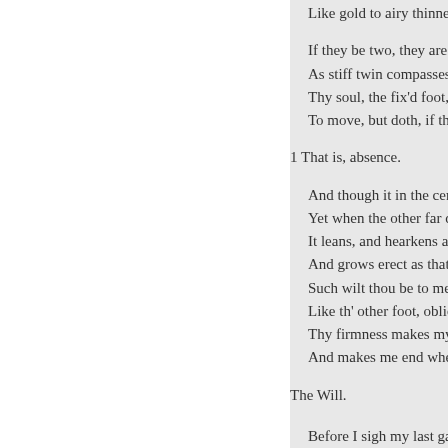Like gold to airy thinness be
If they be two, they are two
As stiff twin compasses are
Thy soul, the fix'd foot, mak
To move, but doth, if th' oth
1 That is, absence.
And though it in the centre s
Yet when the other far doth
It leans, and hearkens after
And grows erect as that com
Such wilt thou be to me, wh
Like th' other foot, obliquely
Thy firmness makes my circ
And makes me end where I
The Will.
Before I sigh my last gasp, L
Great Love, some legacies:
Mine eyes to Argus, if mine
If they be blind, then, Love,